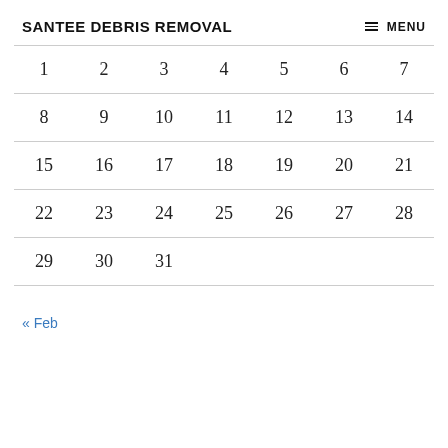SANTEE DEBRIS REMOVAL   ≡ MENU
| 1 | 2 | 3 | 4 | 5 | 6 | 7 |
| 8 | 9 | 10 | 11 | 12 | 13 | 14 |
| 15 | 16 | 17 | 18 | 19 | 20 | 21 |
| 22 | 23 | 24 | 25 | 26 | 27 | 28 |
| 29 | 30 | 31 |  |  |  |  |
« Feb